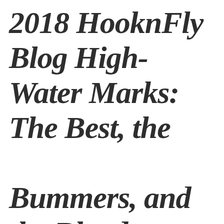2018 HooknFly Blog High-Water Marks: The Best, the Bummers, and the Blood-